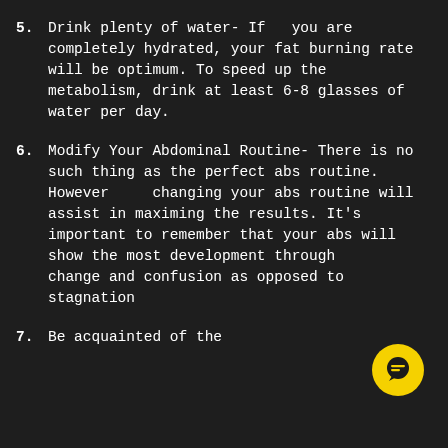5. Drink plenty of water- If you are completely hydrated, your fat burning rate will be optimum. To speed up the metabolism, drink at least 6-8 glasses of water per day.
6. Modify Your Abdominal Routine- There is no such thing as the perfect abs routine. However changing your abs routine will assist in maximing the results. It's important to remember that your abs will show the most development through change and confusion as opposed to stagnation
7. Be acquainted of the